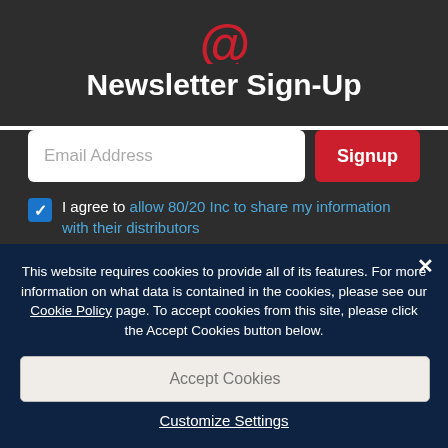[Figure (logo): Red @ symbol icon]
Newsletter Sign-Up
[Figure (screenshot): Email address input field with placeholder text 'Email Address']
[Figure (screenshot): Red Signup button]
I agree to allow 80/20 Inc to share my information with their distributors
This website requires cookies to provide all of its features. For more information on what data is contained in the cookies, please see our Cookie Policy page. To accept cookies from this site, please click the Accept Cookies button below.
Accept Cookies
Customize Settings